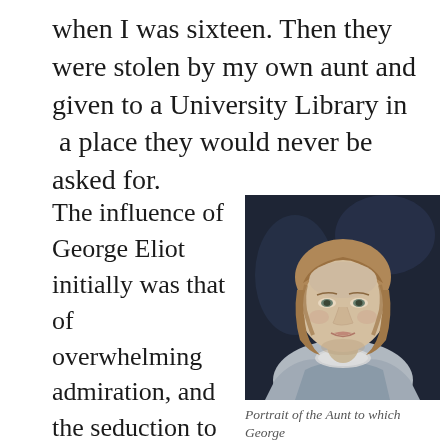when I was sixteen. Then they were stolen by my own aunt and given to a University Library in a place they would never be asked for.
The influence of George Eliot initially was that of overwhelming admiration, and the seduction to leave Africa for England, for its literature, its
[Figure (photo): Portrait painting of a young woman with light brown bob-length hair, pale complexion, wearing a grey/blue dress with a lace collar, painted against a dark background. This is described as a portrait of the Aunt to which George [Eliot...]]
Portrait of the Aunt to which George